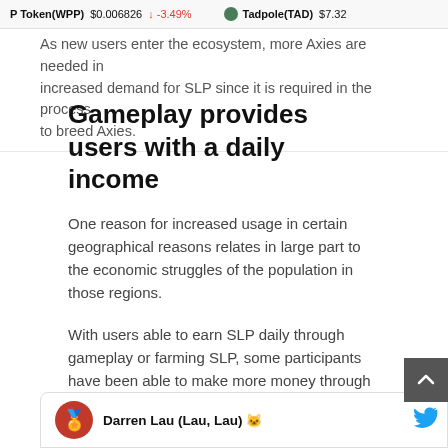P Token(WPP) $0.006826 ↓ -3.49% Tadpole(TAD) $7.32
As new users enter the ecosystem, more Axies are needed in increased demand for SLP since it is required in the process to breed Axies.
Gameplay provides users with a daily income
One reason for increased usage in certain geographical reasons relates in large part to the economic struggles of the population in those regions.
With users able to earn SLP daily through gameplay or farming SLP, some participants have been able to make more money through Axie Infinity than college graduates earn from working.
Darren Lau (Lau, Lau)